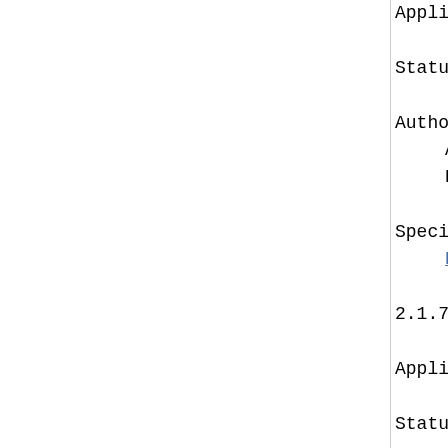Applicable protocol: http
Status: experimental
Author/change controller:
Andrew H. Mutz  (mutz@h
Koen Holtman  (koen@wi
Specification document(s):
RFC2295 [7]
2.1.7.  Header field: Accept-
Applicable protocol: http
Status: standard
Author/change controller:
IETF  (iesg@ietf.org)
Internet Engineering Ta